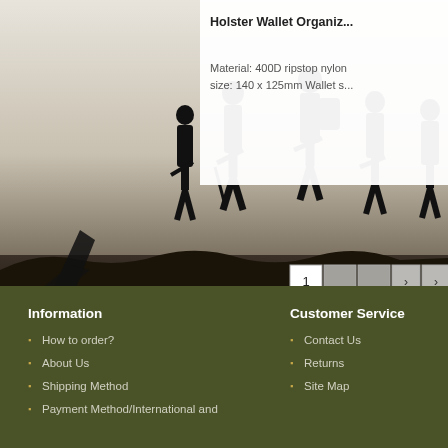Holster Wallet Organiz...
Material: 400D ripstop nylon size: 140 x 125mm Wallet s...
[Figure (photo): Silhouette of soldiers in military gear standing in a field against a hazy sky, black and white photograph. Pagination buttons overlay: 1, blank, blank, >, >]
Information
How to order?
About Us
Shipping Method
Payment Method/International and
Customer Service
Contact Us
Returns
Site Map